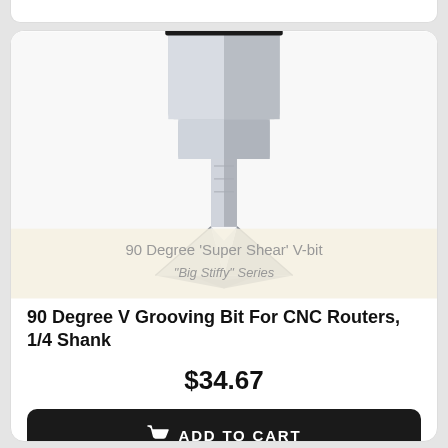[Figure (photo): CNC router V-bit / 90 Degree V Grooving Bit product photo showing a metal tool with hexagonal shank and V-shaped cutting tip, with overlay text '90 Degree Super Shear V-bit Big Stiffy Series']
90 Degree V Grooving Bit For CNC Routers, 1/4 Shank
$34.67
ADD TO CART